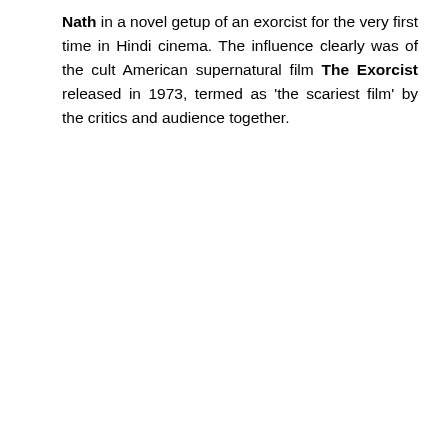Nath in a novel getup of an exorcist for the very first time in Hindi cinema. The influence clearly was of the cult American supernatural film The Exorcist released in 1973, termed as 'the scariest film' by the critics and audience together.